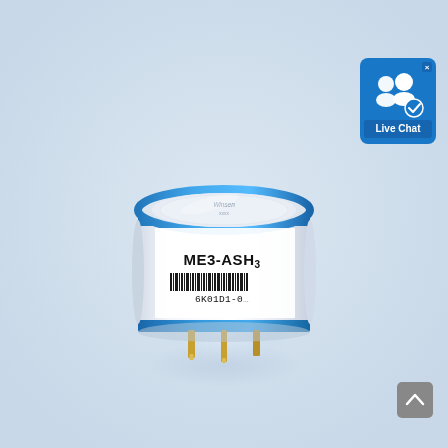[Figure (photo): Product photo of a Winsen ME3-ASH3 electrochemical gas sensor module. The sensor is a cylindrical component with a white body, a blue ring around the top edge, and a white porous membrane on top with 'Winsen' branding. The label on the side reads 'ME3-ASH3' with a barcode and serial number '6K01D1-0...'. Three gold-plated pin connectors protrude from the bottom. The background is a light grey/blue gradient with a soft shadow beneath the sensor.]
[Figure (screenshot): Live Chat button overlay in the top-right corner. Blue rounded rectangle with a white icon of two people and a blue checkmark badge, labeled 'Live Chat'. Has an X close button in the top-right corner.]
[Figure (other): Scroll-to-top button in the bottom-right corner. Grey rounded square with an upward-pointing chevron arrow in white.]